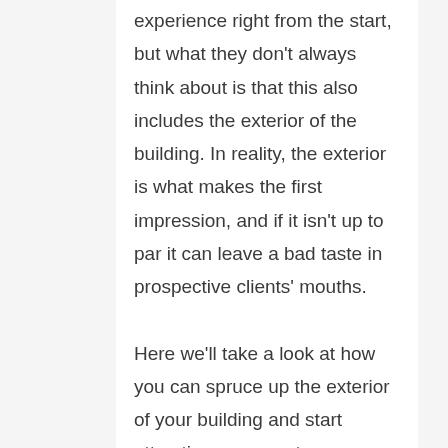experience right from the start, but what they don't always think about is that this also includes the exterior of the building. In reality, the exterior is what makes the first impression, and if it isn't up to par it can leave a bad taste in prospective clients' mouths.

Here we'll take a look at how you can spruce up the exterior of your building and start attracting more customers.